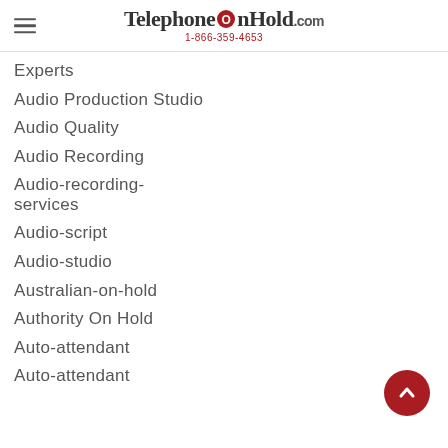TelephoneOnHold.com 1-866-359-4653
Experts
Audio Production Studio
Audio Quality
Audio Recording
Audio-recording-services
Audio-script
Audio-studio
Australian-on-hold
Authority On Hold
Auto-attendant
Auto-attendant